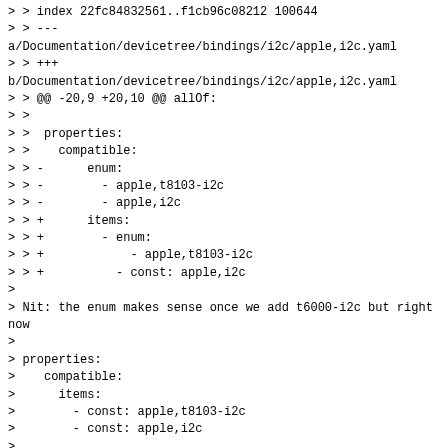> > index 22fc84832561..f1cb96c08212 100644
> > ---
a/Documentation/devicetree/bindings/i2c/apple,i2c.yaml
> > +++
b/Documentation/devicetree/bindings/i2c/apple,i2c.yaml
> > @@ -20,9 +20,10 @@ allOf:
> >
> >  properties:
> >    compatible:
> > -      enum:
> > -        - apple,t8103-i2c
> > -        - apple,i2c
> > +      items:
> > +        - enum:
> > +            - apple,t8103-i2c
> > +          - const: apple,i2c
>
> Nit: the enum makes sense once we add t6000-i2c but right now
>
> properties:
>    compatible:
>      items:
>        - const: apple,t8103-i2c
>        - const: apple,i2c
>
> also works and look a bit less weird.

I split it from change which in addition added
"apple,t6000-i2c" as